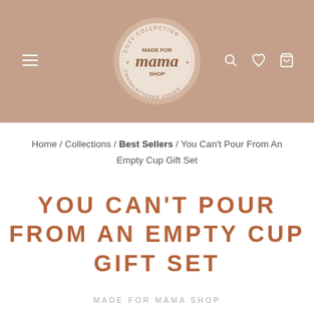[Figure (logo): Made For Mama Shop circular logo on tan/brown navigation header background with hamburger menu, search, heart, and cart icons]
Home / Collections / Best Sellers / You Can't Pour From An Empty Cup Gift Set
YOU CAN'T POUR FROM AN EMPTY CUP GIFT SET
MADE FOR MAMA SHOP